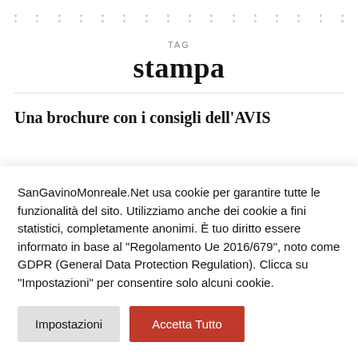TAG
stampa
Una brochure con i consigli dell'AVIS
SanGavinoMonreale.Net usa cookie per garantire tutte le funzionalità del sito. Utilizziamo anche dei cookie a fini statistici, completamente anonimi. È tuo diritto essere informato in base al "Regolamento Ue 2016/679", noto come GDPR (General Data Protection Regulation). Clicca su "Impostazioni" per consentire solo alcuni cookie.
Impostazioni | Accetta Tutto